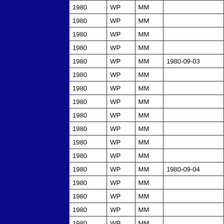| 1980 | WP | MM |  |
| 1980 | WP | MM |  |
| 1980 | WP | MM |  |
| 1980 | WP | MM |  |
| 1980 | WP | MM | 1980-09-03 |
| 1980 | WP | MM |  |
| 1980 | WP | MM |  |
| 1980 | WP | MM |  |
| 1980 | WP | MM |  |
| 1980 | WP | MM |  |
| 1980 | WP | MM |  |
| 1980 | WP | MM |  |
| 1980 | WP | MM | 1980-09-04 |
| 1980 | WP | MM |  |
| 1980 | WP | MM |  |
| 1980 | WP | MM |  |
| 1980 | WP | MM |  |
| 1980 | WP | MM |  |
| 1980 | WP | MM |  |
| 1980 | WP | MM |  |
| 1980 | WP | MM | 1980-0... |